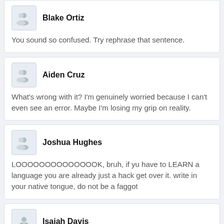Blake Ortiz
You sound so confused. Try rephrase that sentence.
Aiden Cruz
What's wrong with it? I'm genuinely worried because I can't even see an error. Maybe I'm losing my grip on reality.
Joshua Hughes
LOOOOOOOOOOOOOOK, bruh, if yu have to LEARN a language you are already just a hack get over it. write in your native tongue, do not be a faggot
Isaiah Davis
>dur french ppl r sophisimicated cuz they speak french not cuz they're from the birthplace of the enlightenment and i'm a faggot